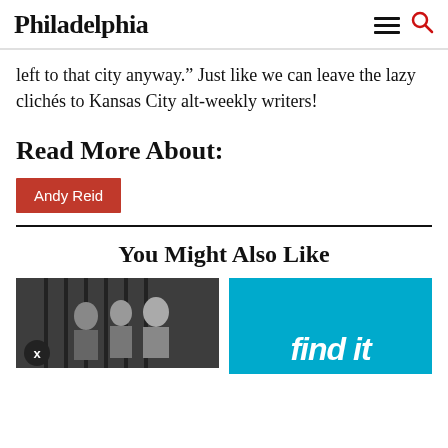Philadelphia
left to that city anyway.” Just like we can leave the lazy clichés to Kansas City alt-weekly writers!
Read More About:
Andy Reid
You Might Also Like
[Figure (photo): Two men in suits standing near prison bars]
[Figure (infographic): Blue advertisement with 'find it' text]